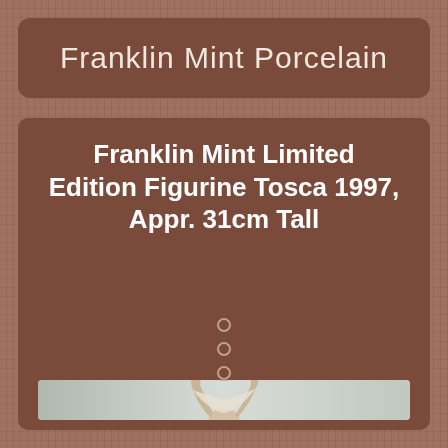Franklin Mint Porcelain
Franklin Mint Limited Edition Figurine Tosca 1997, Appr. 31cm Tall
[Figure (photo): Photo of a Franklin Mint porcelain figurine named Tosca, 1997, approximately 31cm tall. The figurine depicts a female figure with black hair, wearing a white flowing dress/gown, posed with arms raised.]